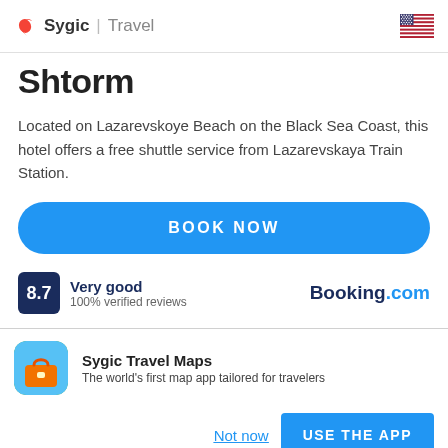Sygic | Travel
Shtorm
Located on Lazarevskoye Beach on the Black Sea Coast, this hotel offers a free shuttle service from Lazarevskaya Train Station.
BOOK NOW
8.7 Very good 100% verified reviews Booking.com
Sygic Travel Maps
The world's first map app tailored for travelers
Not now  USE THE APP